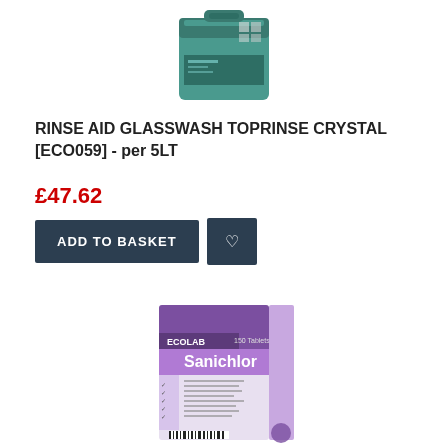[Figure (photo): Photo of a teal/green 5-litre container of Rinse Aid Glasswash Toprinse Crystal product]
RINSE AID GLASSWASH TOPRINSE CRYSTAL [ECO059] - per 5LT
£47.62
[Figure (photo): Photo of Ecolab Sanichlor 150 Tablets product box in white and purple packaging]